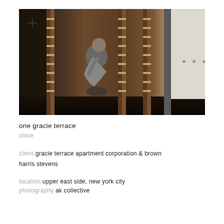[Figure (photo): A man exercising on a stationary bike or fitness equipment inside a gym with wooden wall bars (Swedish ladder) on both sides. The gym has a modern interior with dark flooring and white walls with hooks in the background.]
one gracie terrace
close
client gracie terrace apartment corporation & brown harris stevens
location upper east side, new york city
photography ak collective